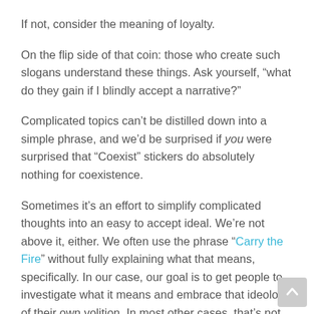If not, consider the meaning of loyalty.
On the flip side of that coin: those who create such slogans understand these things. Ask yourself, “what do they gain if I blindly accept a narrative?”
Complicated topics can’t be distilled down into a simple phrase, and we’d be surprised if you were surprised that “Coexist” stickers do absolutely nothing for coexistence.
Sometimes it’s an effort to simplify complicated thoughts into an easy to accept ideal. We’re not above it, either. We often use the phrase “Carry the Fire” without fully explaining what that means, specifically. In our case, our goal is to get people to investigate what it means and embrace that ideology of their own volition. In most other cases, that’s not so.
So, as a tool of critical thought, the opposite of being a